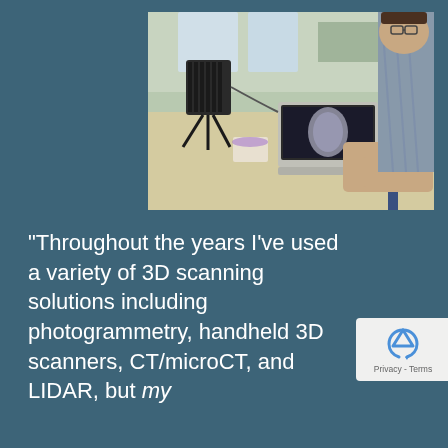[Figure (photo): Person sitting at a desk using a laptop, with a 3D scanning device on a tripod in the foreground scanning an object. School/lab classroom setting visible in the background.]
“Throughout the years I’ve used a variety of 3D scanning solutions including photogrammetry, handheld 3D scanners, CT/microCT, and LIDAR, but my